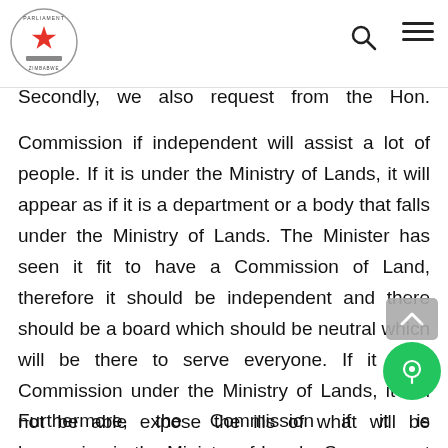[Zimbabwe Parliament logo] [search icon] [menu icon]
Secondly, we also request from the Hon. Minister that the
Commission if independent will assist a lot of people. If it is under the Ministry of Lands, it will appear as if it is a department or a body that falls under the Ministry of Lands. The Minister has seen it fit to have a Commission of Land, therefore it should be independent and there should be a board which should be neutral which will be there to serve everyone. If it is a Commission under the Ministry of Lands, it will not be able expose the ills of what will be happening in the Ministry of Lands. So, we want it to be neutral and this is our request for the Minister of Lands that he addresses this issue.
Furthermore, the Commission if it is independent, it will